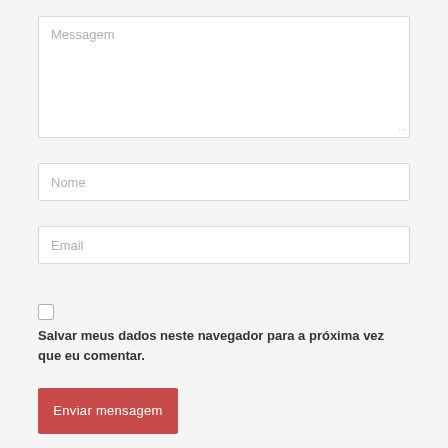[Figure (screenshot): Web form with a textarea labeled 'Messagem', a text input labeled 'Nome', a text input labeled 'Email', a checkbox with label 'Salvar meus dados neste navegador para a próxima vez que eu comentar.', and a submit button labeled 'Enviar mensagem'.]